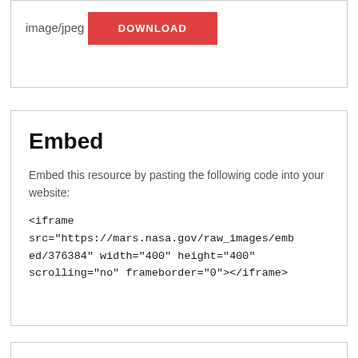image/jpeg
DOWNLOAD
Embed
Embed this resource by pasting the following code into your website:
<iframe src="https://mars.nasa.gov/raw_images/embed/376384" width="400" height="400" scrolling="no" frameborder="0"></iframe>